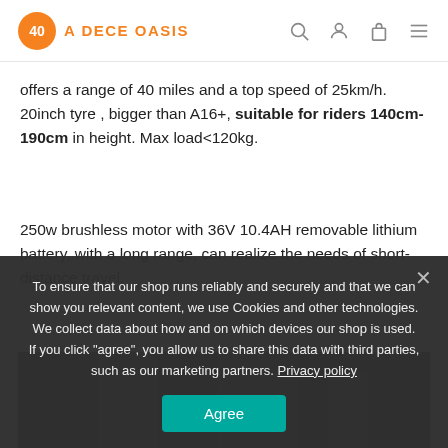A Dece Oasis
offers a range of 40 miles and a top speed of 25km/h. 20inch tyre , bigger than A16+, suitable for riders 140cm-190cm in height. Max load<120kg.
250w brushless motor with 36V 10.4AH removable lithium battery, with a long range, can realize the needs of short-distance travel.
[Figure (photo): Partial photo of a person riding an electric bike]
To ensure that our shop runs reliably and securely and that we can show you relevant content, we use Cookies and other technologies. We collect data about how and on which devices our shop is used. If you click "agree", you allow us to share this data with third parties, such as our marketing partners. Privacy policy